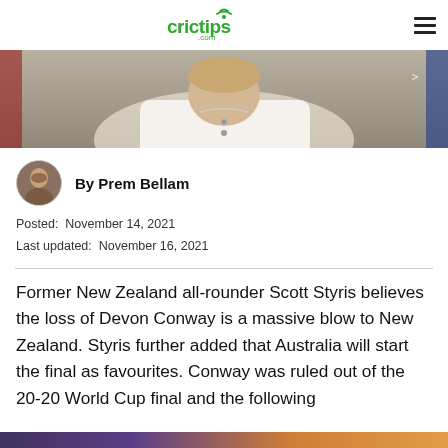crictips.com
[Figure (photo): Hero image showing a man in a white shirt with head bowed down]
By Prem Bellam
Posted: November 14, 2021
Last updated: November 16, 2021
Former New Zealand all-rounder Scott Styris believes the loss of Devon Conway is a massive blow to New Zealand. Styris further added that Australia will start the final as favourites. Conway was ruled out of the 20-20 World Cup final and the following...